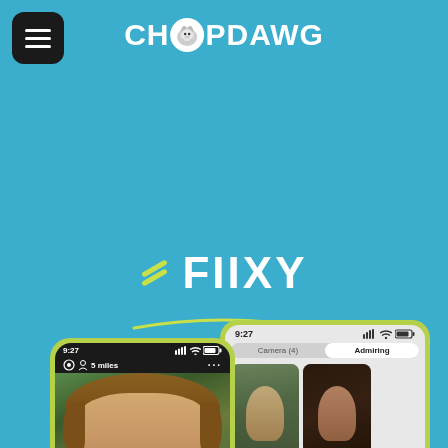[Figure (logo): Chopdawg logo with dog icon in white circle, white bold uppercase text on teal background]
[Figure (screenshot): Fiixy dating app branding section with FIIXY text, decorative slashes, curved divider line, and 'Dating' label on teal background]
[Figure (screenshot): Two mobile phone mockups showing Fiixy dating app UI with profile photos, one in foreground showing woman's photo, one in background showing grid of profile photos with 'Admiring' tab]